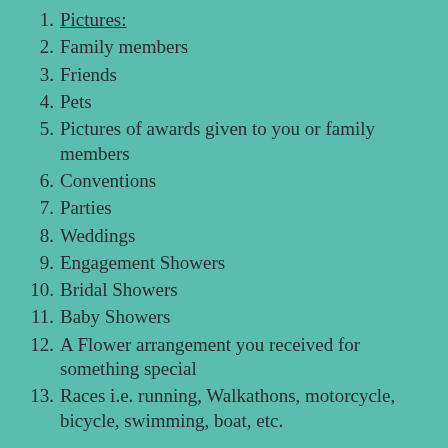1. Pictures:
2. Family members
3. Friends
4. Pets
5. Pictures of awards given to you or family members
6. Conventions
7. Parties
8. Weddings
9. Engagement Showers
10. Bridal Showers
11. Baby Showers
12. A Flower arrangement you received for something special
13. Races i.e. running, Walkathons, motorcycle, bicycle, swimming, boat, etc.